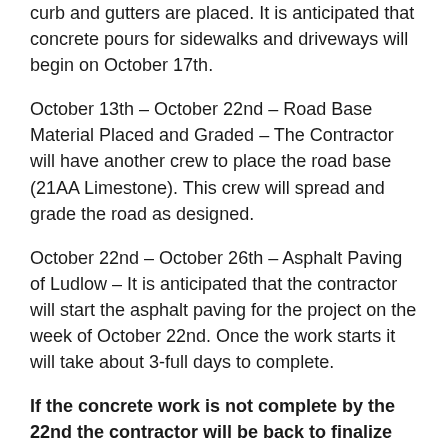curb and gutters are placed. It is anticipated that concrete pours for sidewalks and driveways will begin on October 17th.
October 13th – October 22nd – Road Base Material Placed and Graded – The Contractor will have another crew to place the road base (21AA Limestone). This crew will spread and grade the road as designed.
October 22nd – October 26th – Asphalt Paving of Ludlow – It is anticipated that the contractor will start the asphalt paving for the project on the week of October 22nd. Once the work starts it will take about 3-full days to complete.
If the concrete work is not complete by the 22nd the contractor will be back to finalize the installation of the sidewalks and driveways after the road is paved.